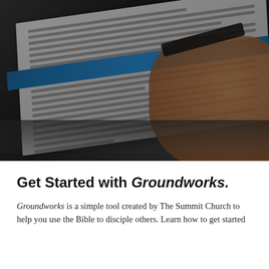[Figure (photo): Person holding open a book/workbook, reading it. The person is wearing a black wristband. The book pages show text. Background is dark/blurred outdoor setting. A blue cover is visible on the book.]
Get Started with Groundworks.
Groundworks is a simple tool created by The Summit Church to help you use the Bible to disciple others. Learn how to get started